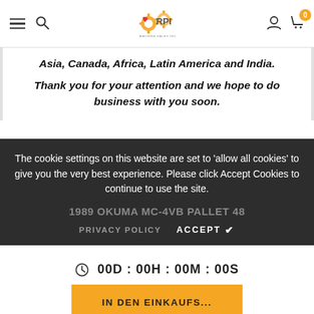ARPI Machine Sales Inc. — navigation header with logo, hamburger menu, search, user icon, cart (0)
Asia, Canada, Africa, Latin America and India. Thank you for your attention and we hope to do business with you soon.
The cookie settings on this website are set to 'allow all cookies' to give you the very best experience. Please click Accept Cookies to continue to use the site.
PRIVACY POLICY   ACCEPT ✓
1989 OKUMA MC-4VB PALLET 48
00D : 00H : 00M : 00S
IN DEN EINKAUFS...